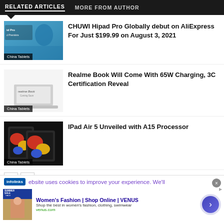RELATED ARTICLES   MORE FROM AUTHOR
[Figure (photo): Thumbnail image for CHUWI Hipad Pro article with China Tablets badge]
CHUWI Hipad Pro Globally debut on AliExpress For Just $199.99 on August 3, 2021
[Figure (photo): Thumbnail image for Realme Book article with China Tablets badge]
Realme Book Will Come With 65W Charging, 3C Certification Reveal
[Figure (photo): Thumbnail image for iPad Air 5 article with China Tablets badge]
IPad Air 5 Unveiled with A15 Processor
ebsite uses cookies to improve your experience. We'll
Women's Fashion | Shop Online | VENUS
Shop the best in women's fashion, clothing, swimwear
venus.com